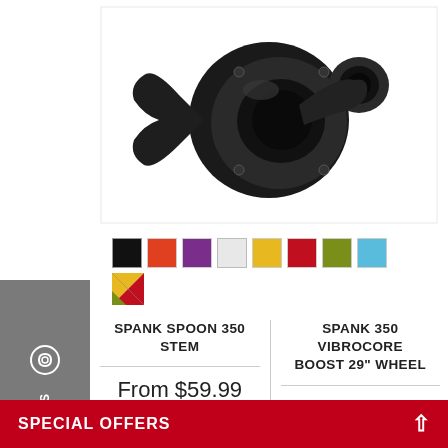[Figure (photo): Black bicycle stem component (SPANK SPOON 350 Stem) on white background]
[Figure (other): Color swatches: black, orange-red, purple, white, yellow, red, olive/green, light blue, and a multicolor swatch]
SPANK SPOON 350 STEM
SPANK 350 VIBROCORE BOOST 29" WHEEL
From $59.99
$479.99
★★★★★ (4)
FILTERS
SPECIAL OFFERS